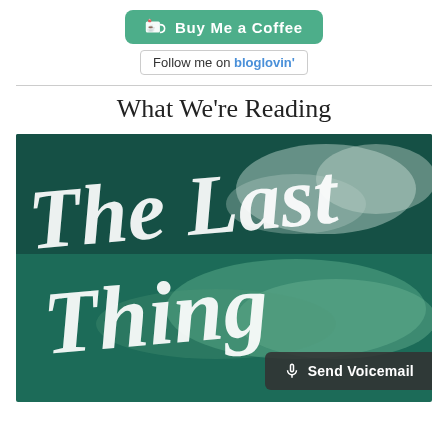[Figure (other): Buy Me a Coffee button - green rounded button with coffee cup icon and white text]
Follow me on bloglovin'
What We're Reading
[Figure (photo): Book cover showing 'The Last Thing' text in white handwritten script on a teal/dark green watercolor background with cloud-like shapes]
Send Voicemail